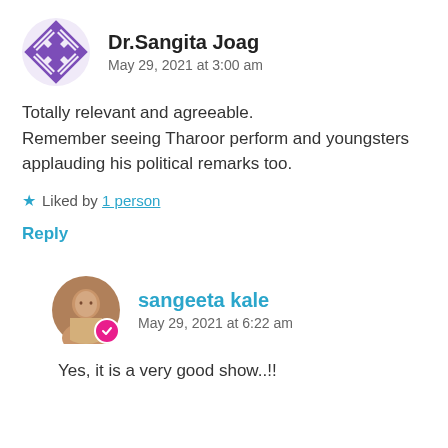[Figure (illustration): Purple geometric diamond/crystal pattern avatar for Dr.Sangita Joag]
Dr.Sangita Joag
May 29, 2021 at 3:00 am
Totally relevant and agreeable.
Remember seeing Tharoor perform and youngsters applauding his political remarks too.
★ Liked by 1 person
Reply
[Figure (photo): Round avatar photo of sangeeta kale with a pink checkmark badge]
sangeeta kale
May 29, 2021 at 6:22 am
Yes, it is a very good show..!!